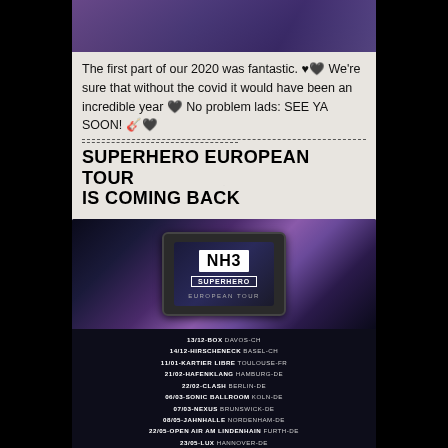[Figure (photo): Dark purple-toned concert/stage photo at the top]
The first part of our 2020 was fantastic. ♥🖤 We're sure that without the covid it would have been an incredible year 🖤 No problem lads: SEE YA SOON! 🎸🖤
SUPERHERO EUROPEAN TOUR IS COMING BACK
[Figure (illustration): Tour poster showing NH3 Superhero European Tour with a vintage TV set, dates listed: 13/12-BOX DAVOS-CH, 14/12-HIRSCHENECK BASEL-CH, 11/01-KARTIER LIBRE TOULOUSE-FR, 21/02-HAFENKLANG HAMBURG-DE, 22/02-CLASH BERLIN-DE, 06/03-SONIC BALLROOM KOLN-DE, 07/03-NEXUS BRUNSWICK-DE, 08/05-JAHNHALLE NORDENHAM-DE, 22/05-OPEN AIR AM LINDENHAIN FURTH-DE, 23/05-LUX HANNOVER-DE]